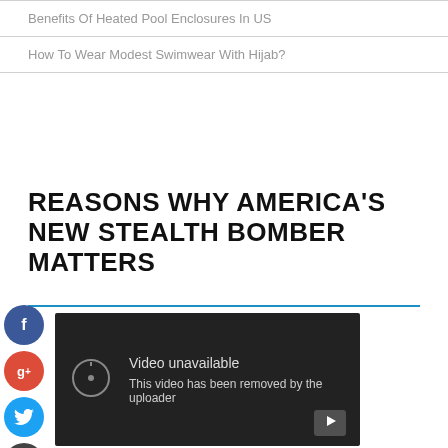Benefits Of Heated Pool Enclosures In US
How To Wear Modest Swimwear With Hijab?
REASONS WHY AMERICA'S NEW STEALTH BOMBER MATTERS
[Figure (screenshot): Embedded video player showing 'Video unavailable - This video has been removed by the uploader' message on a dark background with a YouTube play button icon]